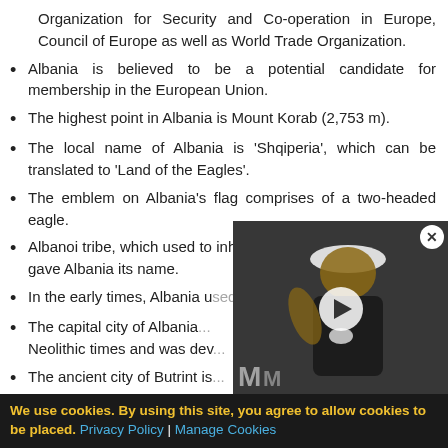Organization for Security and Co-operation in Europe, Council of Europe as well as World Trade Organization.
Albania is believed to be a potential candidate for membership in the European Union.
The highest point in Albania is Mount Korab (2,753 m).
The local name of Albania is ‘Shqiperia’, which can be translated to ‘Land of the Eagles’.
The emblem on Albania’s flag comprises of a two-headed eagle.
Albanoi tribe, which used to inhabit the region around Durres, gave Albania its name.
In the early times, Albania u… [partially obscured]
The capital city of Albania… Neolithic times and was dev… [partially obscured]
The ancient city of Butrint is… [partially obscured]
The city of Berat is a desig… [partially obscured]
[Figure (photo): Video thumbnail showing a tennis player (Serena Williams) celebrating, with a play button overlay. Dark background.]
We use cookies. By using this site, you agree to allow cookies to be placed. Privacy Policy | Manage Cookies